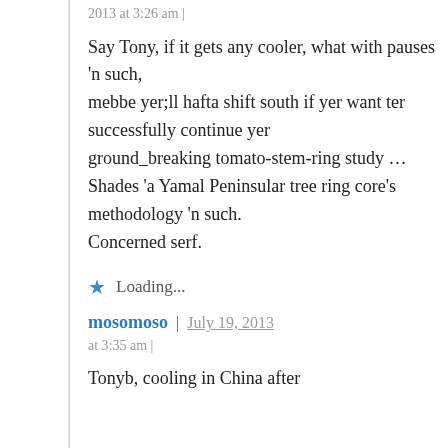2013 at 3:26 am |
Say Tony, if it gets any cooler, what with pauses 'n such, mebbe yer;ll hafta shift south if yer want ter successfully continue yer ground_breaking tomato-stem-ring study … Shades 'a Yamal Peninsular tree ring core's methodology 'n such.
Concerned serf.
Loading...
mosomoso | July 19, 2013 at 3:35 am |
Tonyb, cooling in China after